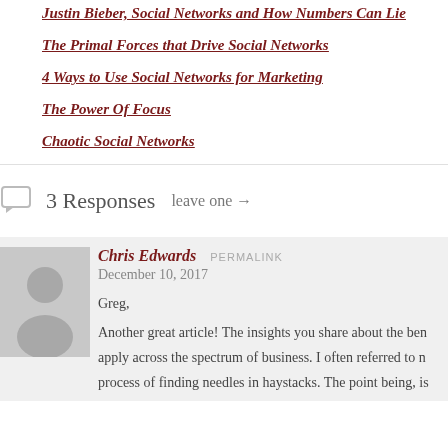Justin Bieber, Social Networks and How Numbers Can Lie
The Primal Forces that Drive Social Networks
4 Ways to Use Social Networks for Marketing
The Power Of Focus
Chaotic Social Networks
3 Responses   leave one →
Chris Edwards   PERMALINK
December 10, 2017
Greg,
Another great article! The insights you share about the ben... apply across the spectrum of business. I often referred to n... process of finding needles in haystacks. The point being, is...